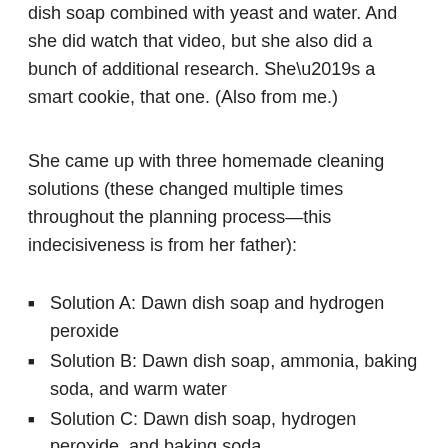dish soap combined with yeast and water. And she did watch that video, but she also did a bunch of additional research. She’s a smart cookie, that one. (Also from me.)
She came up with three homemade cleaning solutions (these changed multiple times throughout the planning process—this indecisiveness is from her father):
Solution A: Dawn dish soap and hydrogen peroxide
Solution B: Dawn dish soap, ammonia, baking soda, and warm water
Solution C: Dawn dish soap, hydrogen peroxide, and baking soda